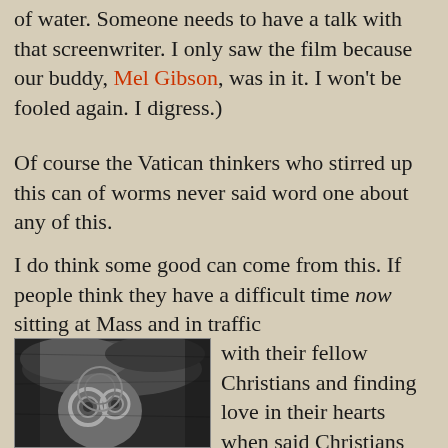of water. Someone needs to have a talk with that screenwriter. I only saw the film because our buddy, Mel Gibson, was in it. I won't be fooled again. I digress.)
Of course the Vatican thinkers who stirred up this can of worms never said word one about any of this.
I do think some good can come from this. If people think they have a difficult time now sitting at Mass and in traffic with their fellow Christians and finding love in their hearts when said Christians want to hold hands too much and honk at them all the time.
[Figure (photo): Black and white grainy photograph of what appears to be a carved stone or mosaic face with circular eye designs, surrounded by foliage or textured background.]